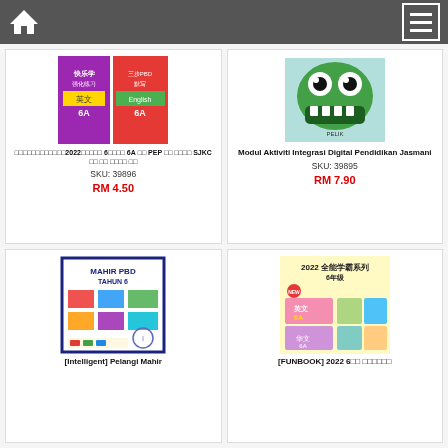Navigation bar with home and menu icons
[Figure (photo): Product image: Chinese school workbook set for Grade 6A PEP/SJKC 2022]
□□□□□□□□□□□□2022□□□□□ 6□□□□ 6A □□ PEP □□ □□□□ SJKC □□ □□ □□□□ □□
SKU: 39896
RM 4.50
[Figure (photo): Product image: Green cartoon monster character on book cover - Modul Aktiviti Integrasi Digital Pendidikan Jasmani]
Modul Aktiviti Integrasi Digital Pendidikan Jasmani
SKU: 39895
RM 7.90
[Figure (photo): Product image: Mahir PBD Tahun 6 workbook with grid of activity pages]
[Intelligent] Pelangi Mahir
[Figure (photo): Product image: FUNBOOK 2022 6-year Chinese school series 全能学霸系列 6年级]
[FUNBOOK] 2022 6□□ □□□□□□